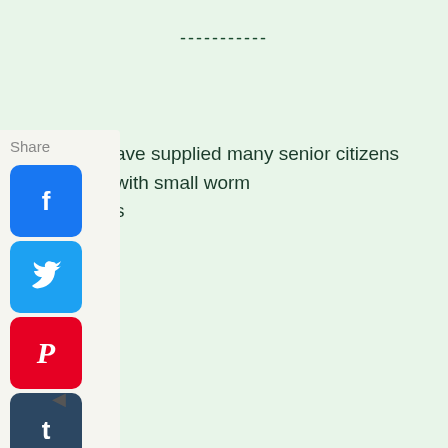-----------
Share
ave supplied many senior citizens with small worm s
[Figure (infographic): Social media share panel with icons for Facebook, Twitter, Pinterest, Tumblr, Reddit, WhatsApp, and Messenger, with a back arrow at the bottom]